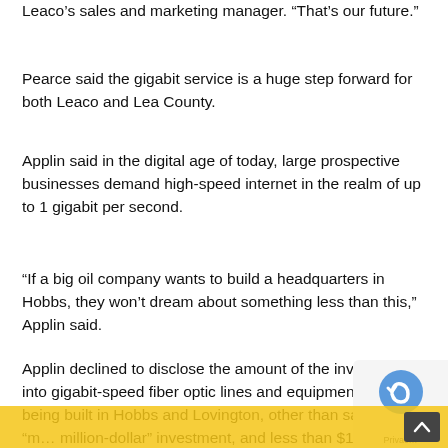Leaco’s sales and marketing manager. “That’s our future.”
Pearce said the gigabit service is a huge step forward for both Leaco and Lea County.
Applin said in the digital age of today, large prospective businesses demand high-speed internet in the realm of up to 1 gigabit per second.
“If a big oil company wants to build a headquarters in Hobbs, they won’t dream about something less than this,” Applin said.
Applin declined to disclose the amount of the investment into gigabit-speed fiber optic lines and equipment currently being built in Hobbs and Lovington, other than saying it’s a “m… million-dollar” investment, and less than $10 million.